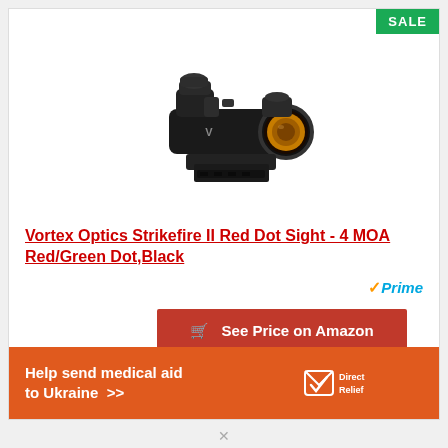[Figure (photo): Vortex Optics Strikefire II Red Dot Sight - black tactical scope on mount with amber lens]
Vortex Optics Strikefire II Red Dot Sight - 4 MOA Red/Green Dot,Black
Prime
See Price on Amazon
Help send medical aid to Ukraine >>
[Figure (logo): Direct Relief logo - white bird/envelope icon with text DirectRelief]